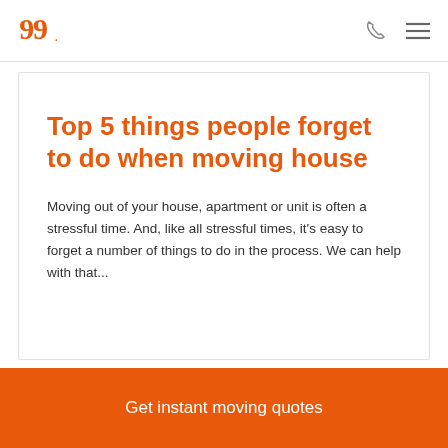Top 5 things people forget to do when moving house
Moving out of your house, apartment or unit is often a stressful time. And, like all stressful times, it's easy to forget a number of things to do in the process. We can help with that...
Get instant moving quotes